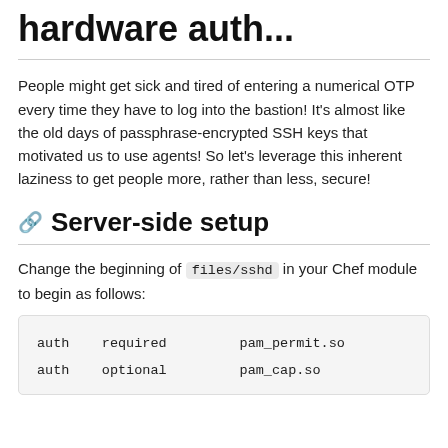hardware auth...
People might get sick and tired of entering a numerical OTP every time they have to log into the bastion! It's almost like the old days of passphrase-encrypted SSH keys that motivated us to use agents! So let's leverage this inherent laziness to get people more, rather than less, secure!
Server-side setup
Change the beginning of files/sshd in your Chef module to begin as follows:
| auth | required | pam_permit.so |
| auth | optional | pam_cap.so |